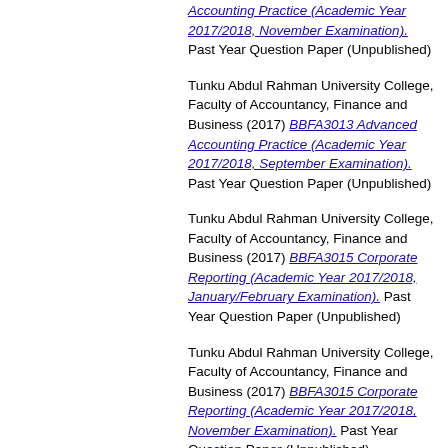Tunku Abdul Rahman University College, Faculty of Accountancy, Finance and Business (2017) BBFA3013 Advanced Accounting Practice (Academic Year 2017/2018, November Examination). Past Year Question Paper (Unpublished)
Tunku Abdul Rahman University College, Faculty of Accountancy, Finance and Business (2017) BBFA3013 Advanced Accounting Practice (Academic Year 2017/2018, September Examination). Past Year Question Paper (Unpublished)
Tunku Abdul Rahman University College, Faculty of Accountancy, Finance and Business (2017) BBFA3015 Corporate Reporting (Academic Year 2017/2018, January/February Examination). Past Year Question Paper (Unpublished)
Tunku Abdul Rahman University College, Faculty of Accountancy, Finance and Business (2017) BBFA3015 Corporate Reporting (Academic Year 2017/2018, November Examination). Past Year Question Paper (Unpublished)
Tunku Abdul Rahman University College, Faculty of Accountancy, Finance and Business (2017) BBFA3015 Corporate Reporting (Academic Year 2017/2018, ...